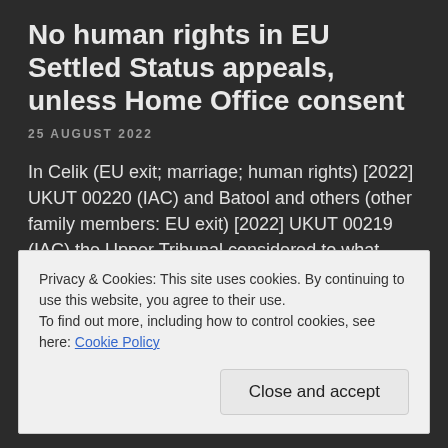No human rights in EU Settled Status appeals, unless Home Office consent
25 AUGUST 2022
In Celik (EU exit; marriage; human rights) [2022] UKUT 00220 (IAC) and Batool and others (other family members: EU exit) [2022] UKUT 00219 (IAC) the Upper Tribunal considered to what extent human rights arguments can be considered in EU Settled Status appeal. In short: they can be considered where the Home Office consent to this. [...]
Privacy & Cookies: This site uses cookies. By continuing to use this website, you agree to their use.
To find out more, including how to control cookies, see here: Cookie Policy
Close and accept